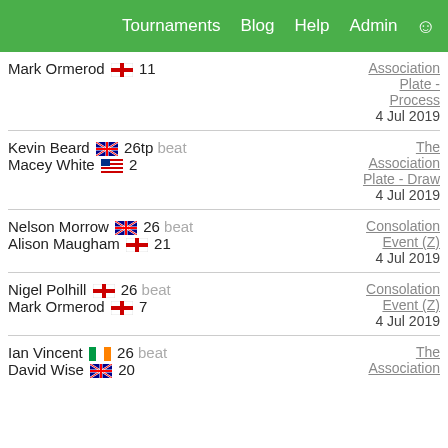Tournaments  Blog  Help  Admin
Mark Ormerod [ENG flag] 11
Association Plate - Process
4 Jul 2019
Kevin Beard [AUS flag] 26tp beat
Macey White [USA flag] 2
The Association Plate - Draw
4 Jul 2019
Nelson Morrow [AUS flag] 26 beat
Alison Maugham [ENG flag] 21
Consolation Event (Z)
4 Jul 2019
Nigel Polhill [ENG flag] 26 beat
Mark Ormerod [ENG flag] 7
Consolation Event (Z)
4 Jul 2019
Ian Vincent [IRE flag] 26 beat
David Wise [AUS flag] 20
The Association